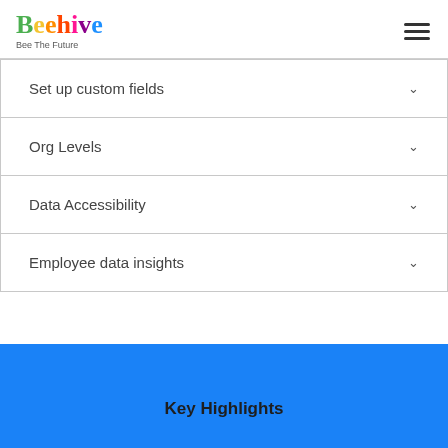Beehive — Bee The Future
Set up custom fields
Org Levels
Data Accessibility
Employee data insights
Key Highlights